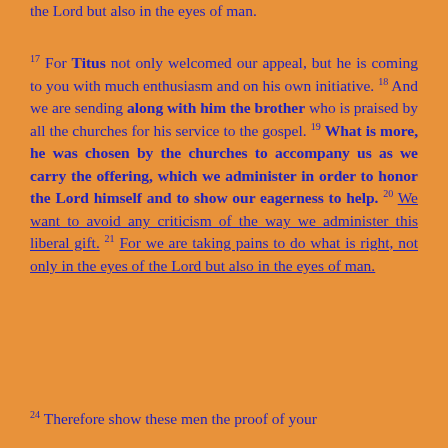the Lord but also in the eyes of man.
17 For Titus not only welcomed our appeal, but he is coming to you with much enthusiasm and on his own initiative. 18 And we are sending along with him the brother who is praised by all the churches for his service to the gospel. 19 What is more, he was chosen by the churches to accompany us as we carry the offering, which we administer in order to honor the Lord himself and to show our eagerness to help. 20 We want to avoid any criticism of the way we administer this liberal gift. 21 For we are taking pains to do what is right, not only in the eyes of the Lord but also in the eyes of man.
24 Therefore show these men the proof of your